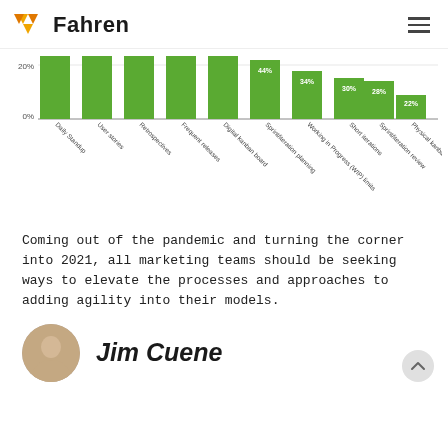Fahren
[Figure (bar-chart): Agile practices usage]
Coming out of the pandemic and turning the corner into 2021, all marketing teams should be seeking ways to elevate the processes and approaches to adding agility into their models.
Jim Cuene